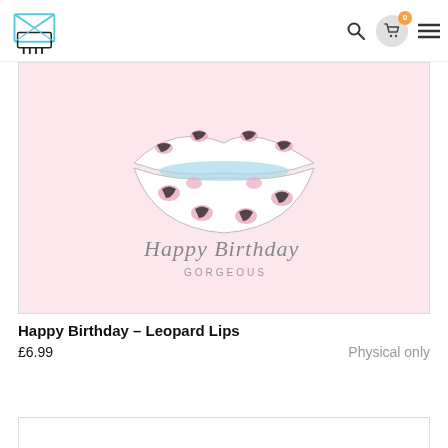[Figure (logo): Viviv Group Cards logo with envelope/mailbox icon and text GROUP CARDS]
[Figure (photo): Birthday card product image: leopard print lips illustration on pale pink background with 'Happy Birthday' cursive text and 'GORGEOUS' below]
Happy Birthday – Leopard Lips
£6.99
Physical only